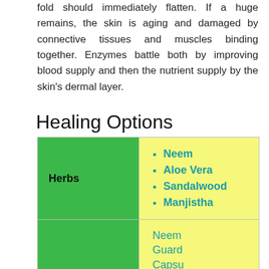fold should immediately flatten. If a huge remains, the skin is aging and damaged by connective tissues and muscles binding together. Enzymes battle both by improving blood supply and then the nutrient supply by the skin's dermal layer.
Healing Options
|  |  |
| --- | --- |
| Herbs | Neem
Aloe Vera
Sandalwood
Manjistha |
|  | Neem Guard Capsules |